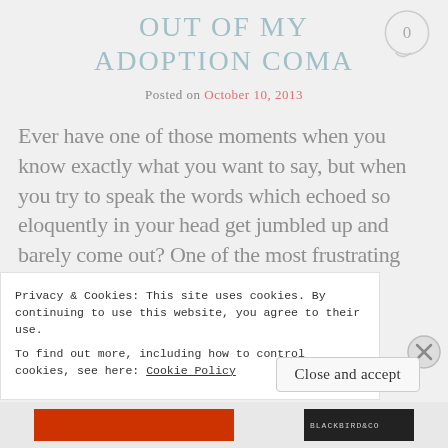OUT OF MY ADOPTION COMA
Posted on October 10, 2013
Ever have one of those moments when you know exactly what you want to say, but when you try to speak the words which echoed so eloquently in your head get jumbled up and barely come out? One of the most frustrating experiences you can go through
Privacy & Cookies: This site uses cookies. By continuing to use this website, you agree to their use. To find out more, including how to control cookies, see here: Cookie Policy